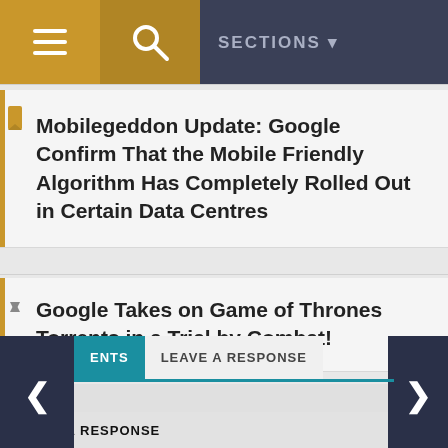SECTIONS
Mobilegeddon Update: Google Confirm That the Mobile Friendly Algorithm Has Completely Rolled Out in Certain Data Centres
Google Takes on Game of Thrones Torrents in a Trial by Combat!
ENTS   LEAVE A RESPONSE
LEAVE A RESPONSE